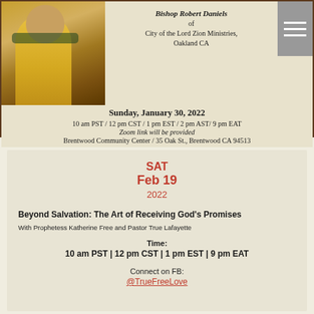[Figure (photo): Person in yellow outfit holding a dark book/bible, with greenery in background]
Bishop Robert Daniels
of
City of the Lord Zion Ministries, Oakland CA
Sunday, January 30, 2022
10 am PST / 12 pm CST / 1 pm EST / 2 pm AST/ 9 pm EAT
Zoom link will be provided
Brentwood Community Center / 35 Oak St., Brentwood CA 94513
SAT
Feb 19
2022
Beyond Salvation: The Art of Receiving God's Promises
With Prophetess Katherine Free and Pastor True Lafayette
Time:
10 am PST  |  12 pm CST  |  1 pm EST  |  9 pm EAT
Connect on FB:
@TrueFreeLove